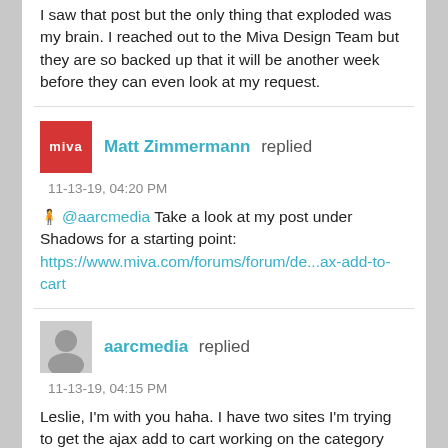I saw that post but the only thing that exploded was my brain. I reached out to the Miva Design Team but they are so backed up that it will be another week before they can even look at my request.
Matt Zimmermann replied
11-13-19, 04:20 PM
@aarcmedia Take a look at my post under Shadows for a starting point: https://www.miva.com/forums/forum/de...ax-add-to-cart
aarcmedia replied
11-13-19, 04:15 PM
Leslie, I'm with you haha. I have two sites I'm trying to get the ajax add to cart working on the category page. On one I do have it set so it's firing for the FIRST product on the category page, but it isn't changing for the rest of them on the page.